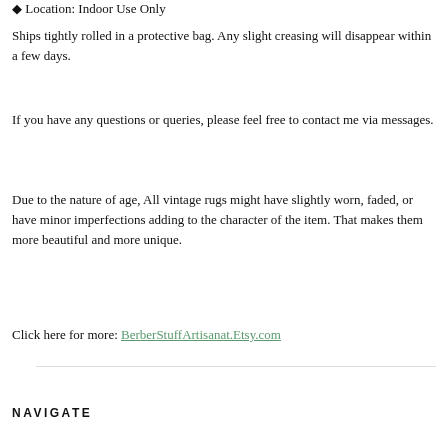◆ Location: Indoor Use Only
Ships tightly rolled in a protective bag. Any slight creasing will disappear within a few days.
If you have any questions or queries, please feel free to contact me via messages.
Due to the nature of age, All vintage rugs might have slightly worn, faded, or have minor imperfections adding to the character of the item. That makes them more beautiful and more unique.
Click here for more: BerberStuffArtisanat.Etsy.com
NAVIGATE